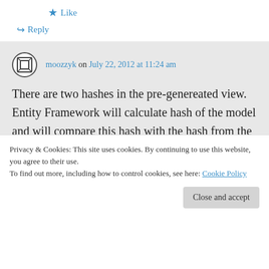★ Like
↪ Reply
moozzyk on July 22, 2012 at 11:24 am
There are two hashes in the pre-genereated view. Entity Framework will calculate hash of the model and will compare this hash with the hash from the generated view. If hashes match the
Privacy & Cookies: This site uses cookies. By continuing to use this website, you agree to their use.
To find out more, including how to control cookies, see here: Cookie Policy
Close and accept
GetViewAt() method and run the program